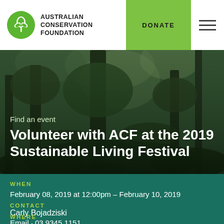AUSTRALIAN CONSERVATION FOUNDATION | DONATE
[Figure (photo): Forest/rainforest background image with large trees and tropical foliage, dark green tones]
Find an event
Volunteer with ACF at the 2019 Sustainable Living Festival
WHEN
February 08, 2019 at 12:00pm – February 10, 2019
CONTACT
Carly Bojadziski
Email · 03 9345 1151
WHERE